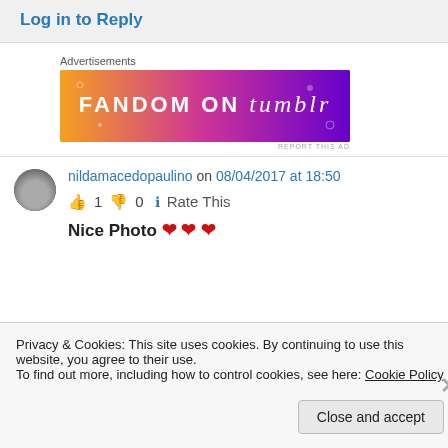Log in to Reply
Advertisements
[Figure (photo): FANDOM ON tumblr advertisement banner with colorful orange-to-purple gradient background]
REPORT THIS AD
nildamacedopaulino on 08/04/2017 at 18:50
👍 1 👎 0 ℹ Rate This
Nice Photo ❤ ❤ ❤
Privacy & Cookies: This site uses cookies. By continuing to use this website, you agree to their use.
To find out more, including how to control cookies, see here: Cookie Policy